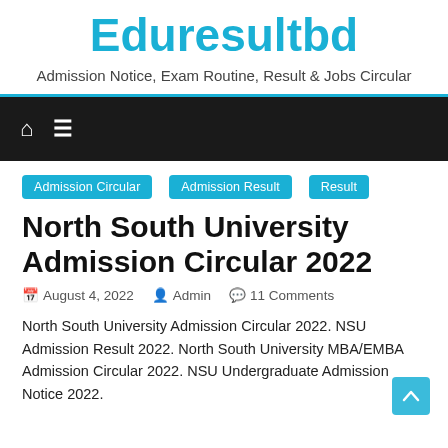Eduresultbd
Admission Notice, Exam Routine, Result & Jobs Circular
Admission Circular
Admission Result
Result
North South University Admission Circular 2022
August 4, 2022  Admin  11 Comments
North South University Admission Circular 2022. NSU Admission Result 2022. North South University MBA/EMBA Admission Circular 2022. NSU Undergraduate Admission Notice 2022.